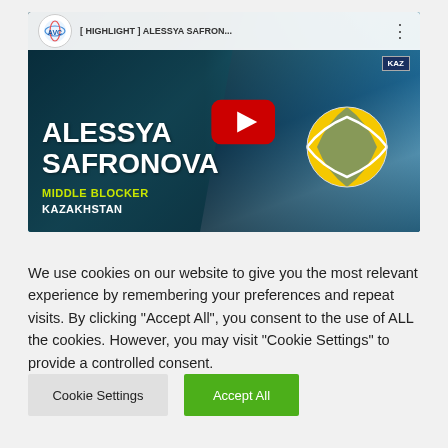[Figure (screenshot): YouTube video thumbnail for AVC highlight video featuring Alessya Safronova, middle blocker from Kazakhstan. Shows player holding volleyball, with YouTube play button overlay. Top bar shows AVC channel logo and video title '[HIGHLIGHT] ALESSYA SAFRON...']
We use cookies on our website to give you the most relevant experience by remembering your preferences and repeat visits. By clicking “Accept All”, you consent to the use of ALL the cookies. However, you may visit "Cookie Settings" to provide a controlled consent.
Cookie Settings
Accept All